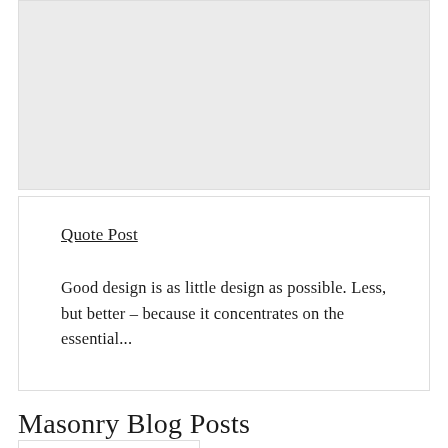[Figure (other): Gray placeholder image block at the top of the page]
Quote Post
Good design is as little design as possible. Less, but better – because it concentrates on the essential...
Masonry Blog Posts